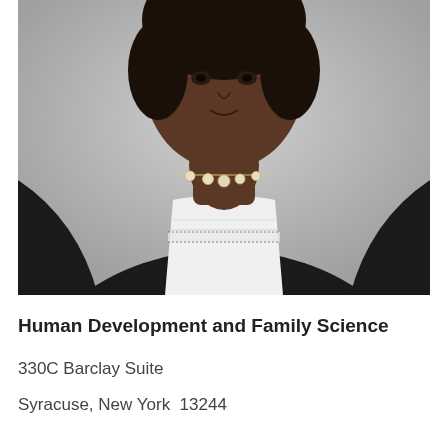[Figure (photo): Professional headshot photo of a woman wearing a black blazer/cardigan over a white lace top, with a pearl necklace, photographed against a light gray background.]
Human Development and Family Science
330C Barclay Suite
Syracuse, New York  13244